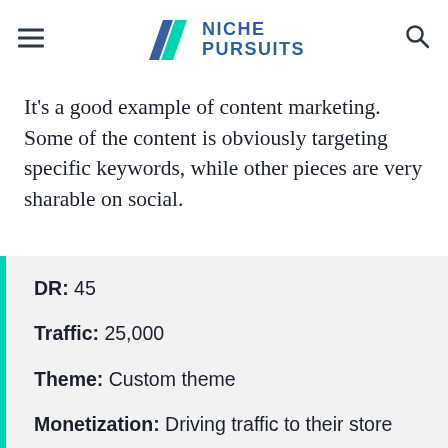Niche Pursuits
It's a good example of content marketing. Some of the content is obviously targeting specific keywords, while other pieces are very sharable on social.
DR: 45
Traffic: 25,000
Theme: Custom theme
Monetization: Driving traffic to their store